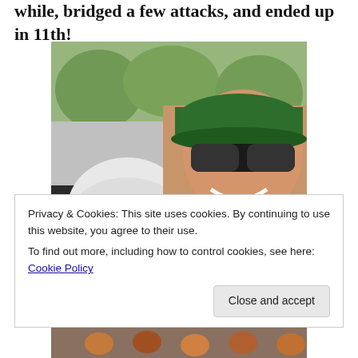while, bridged a few attacks, and ended up in 11th!
[Figure (photo): A smiling woman sitting in a car, wearing a green cap and sunglasses, holding a cycling medal on a red-white-blue ribbon around her neck. A white helmet is visible on the seat.]
Privacy & Cookies: This site uses cookies. By continuing to use this website, you agree to their use.
To find out more, including how to control cookies, see here: Cookie Policy
[Figure (photo): Partial bottom strip showing cyclists in a race.]